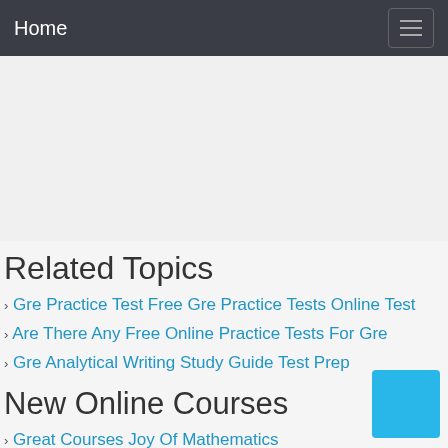Home
[Figure (other): Advertisement/empty space area]
Related Topics
Gre Practice Test Free Gre Practice Tests Online Test
Are There Any Free Online Practice Tests For Gre
Gre Analytical Writing Study Guide Test Prep
New Online Courses
Great Courses Joy Of Mathematics